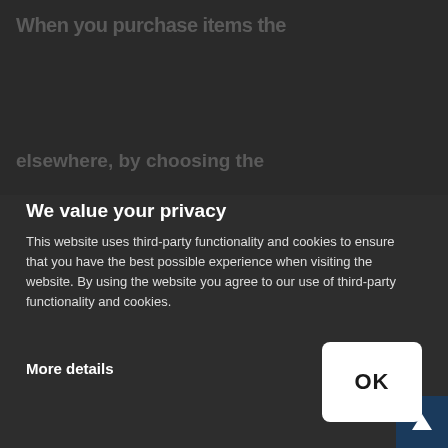When you purchase items the
elsewhere, by choosing the
We value your privacy
This website uses third-party functionality and cookies to ensure that you have the best possible experience when visiting the website. By using the website you agree to our use of third-party functionality and cookies.
More details
• Spending on research and to
• There are many variations of
[Figure (screenshot): OK button — white rounded rectangle with bold black OK text]